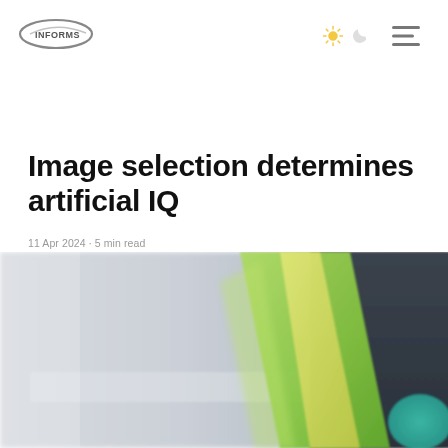Image selection determines artificial IQ
11 Apr 2024 · 5 min read
[Figure (photo): Close-up photo of colorful overlapping sample materials or films — green, yellow, and dark panels — on a reflective surface, partially blurred with shallow depth of field.]